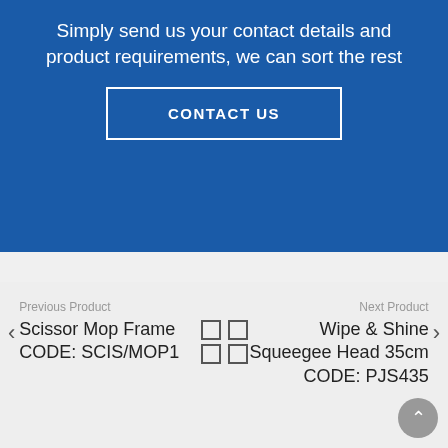Simply send us your contact details and product requirements, we can sort the rest
CONTACT US
Previous Product
Scissor Mop Frame CODE: SCIS/MOP1
Next Product
Wipe & Shine Squeegee Head 35cm CODE: PJS435